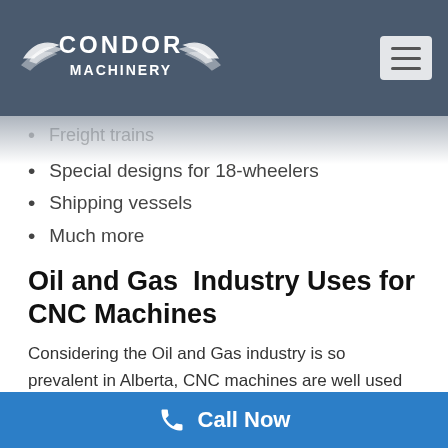Condor Machinery
Freight trains
Special designs for 18-wheelers
Shipping vessels
Much more
Oil and Gas  Industry Uses for CNC Machines
Considering the Oil and Gas industry is so prevalent in Alberta, CNC machines are well used in this industry! CNC machines are used to machine parts for all aspects of the oil and gas industry, from pipelines to refineries, to safety, and more! The oil and gas industry utilizes the precision and mass production capabilities of CNC machines. Here are a few examples of items created by CNC machines:
Call Now